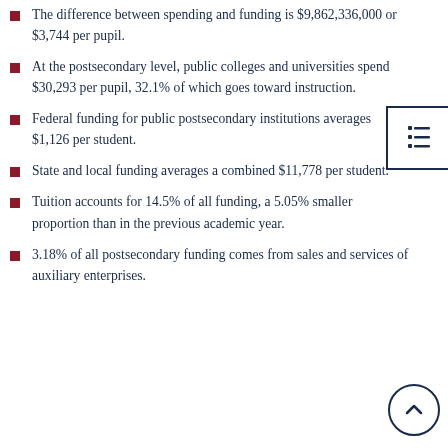The difference between spending and funding is $9,862,336,000 or $3,744 per pupil.
At the postsecondary level, public colleges and universities spend $30,293 per pupil, 32.1% of which goes toward instruction.
Federal funding for public postsecondary institutions averages $1,126 per student.
State and local funding averages a combined $11,778 per student.
Tuition accounts for 14.5% of all funding, a 5.05% smaller proportion than in the previous academic year.
3.18% of all postsecondary funding comes from sales and services of auxiliary enterprises.